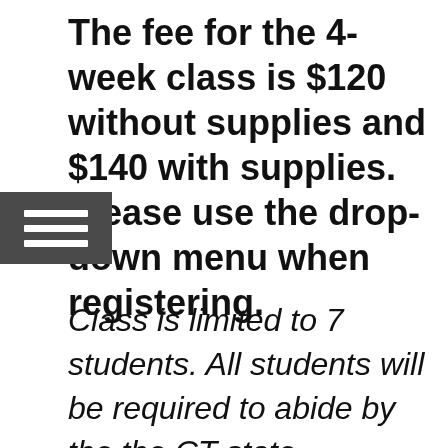The fee for the 4-week class is $120 without supplies and $140 with supplies. Please use the drop-down menu when registering.
Class is limited to 7 students. All students will be required to abide by the the CT state guidelines for small group gatherings.  Those guidelines will be sent to each